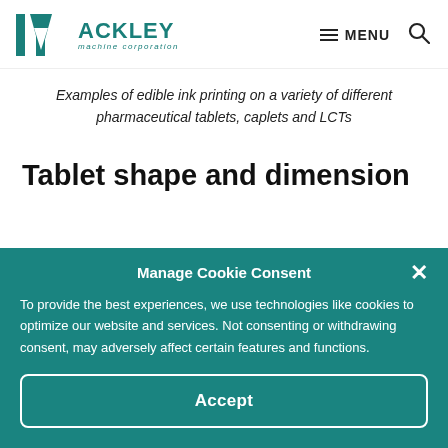Ackley Machine Corporation — MENU
Examples of edible ink printing on a variety of different pharmaceutical tablets, caplets and LCTs
Tablet shape and dimension
Manage Cookie Consent
To provide the best experiences, we use technologies like cookies to optimize our website and services. Not consenting or withdrawing consent, may adversely affect certain features and functions.
Accept